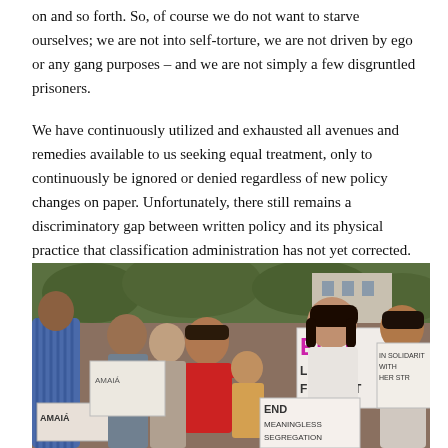on and so forth. So, of course we do not want to starve ourselves; we are not into self-torture, we are not driven by ego or any gang purposes – and we are not simply a few disgruntled prisoners.
We have continuously utilized and exhausted all avenues and remedies available to us seeking equal treatment, only to continuously be ignored or denied regardless of new policy changes on paper. Unfortunately, there still remains a discriminatory gap between written policy and its physical practice that classification administration has not yet corrected.
[Figure (photo): Protest scene showing a crowd of people including a young child in a red shirt holding signs that read 'END [SO]LITARY [CON]FINEMENT', 'END MEANINGLESS [SEGREGATION]', and 'IN SOLIDARITY WITH [HUNGER STRIKERS]']